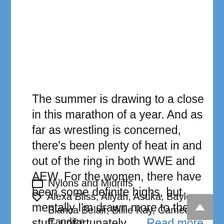[Figure (photo): Photo of a female wrestler in a red/orange sequined costume on a purple-lit stage]
The summer is drawing to a close in this marathon of a year. And as far as wrestling is concerned, there’s been plenty of heat in and out of the ring in both WWE and AEW. For the women, there have been some definite highs, but mentally I’m drawn more to the bad stuff, unfortunately. … Read more
Nylons and Midriffs
Alexa Bliss, Aliyah, Asuka, Bayley, Bianca Belair, Billie Kay, Cameo, Candice